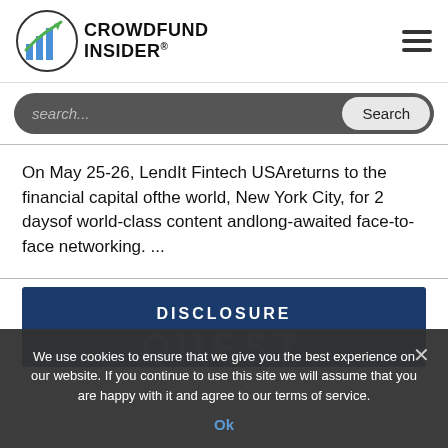[Figure (logo): Crowdfund Insider logo with chart icon and text]
[Figure (screenshot): Search bar with placeholder text 'search...' and Search button]
On May 25-26, LendIt Fintech USAreturns to the financial capital ofthe world, New York City, for 2 daysof world-class content andlong-awaited face-to-face networking. ...
[Figure (screenshot): Disclosure Quest Beta banner image with blue background]
We use cookies to ensure that we give you the best experience on our website. If you continue to use this site we will assume that you are happy with it and agree to our terms of service.
Ok